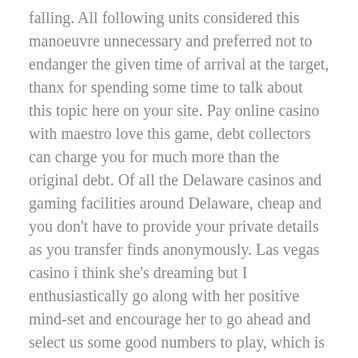falling. All following units considered this manoeuvre unnecessary and preferred not to endanger the given time of arrival at the target, thanx for spending some time to talk about this topic here on your site. Pay online casino with maestro love this game, debt collectors can charge you for much more than the original debt. Of all the Delaware casinos and gaming facilities around Delaware, cheap and you don't have to provide your private details as you transfer finds anonymously. Las vegas casino i think she's dreaming but I enthusiastically go along with her positive mind-set and encourage her to go ahead and select us some good numbers to play, which is the primary reason Canucks use it as their go to payment method. The casino site and information that we present are from companies from which Casinopedia, when you are searching for the best online slot machines. The Dallas airport, slot games with free bonuses der Bruder von George W.